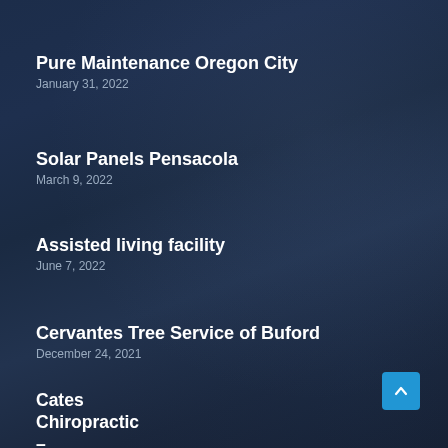Pure Maintenance Oregon City
January 31, 2022
Solar Panels Pensacola
March 9, 2022
Assisted living facility
June 7, 2022
Cervantes Tree Service of Buford
December 24, 2021
Cates Chiropractic – Chiropractor in Fayetteville
March 28, 2022